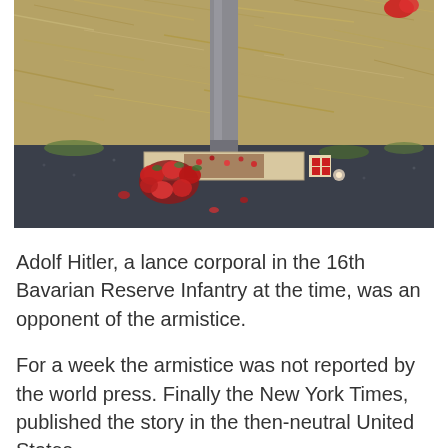[Figure (photo): Outdoor photograph showing a memorial or grave marker at ground level with a metal pole/post in the center. Red floral wreaths and flowers are placed around a flat rectangular plaque. The background shows dry straw/hay on dark ground surface.]
Adolf Hitler, a lance corporal in the 16th Bavarian Reserve Infantry at the time, was an opponent of the armistice.
For a week the armistice was not reported by the world press. Finally the New York Times, published the story in the then-neutral United States.